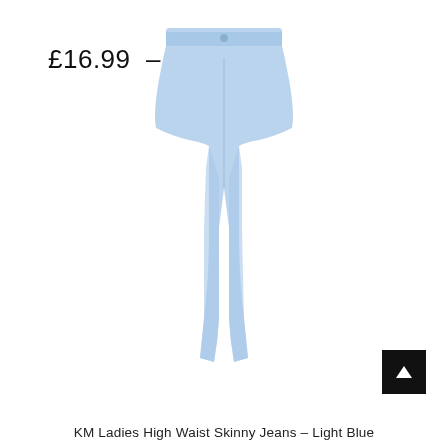£16.99 – £18.99
[Figure (photo): Light blue high waist skinny jeans displayed on white background, front view, no model]
KM Ladies High Waist Skinny Jeans – Light Blue